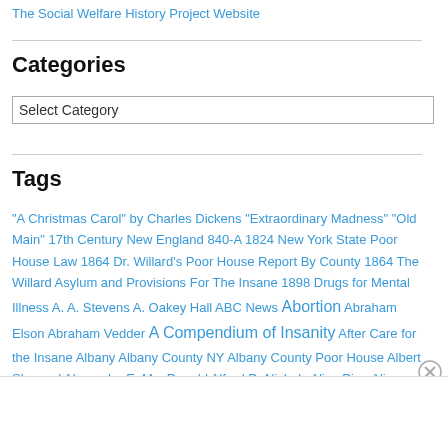The Social Welfare History Project Website
Categories
Select Category
Tags
"A Christmas Carol" by Charles Dickens "Extraordinary Madness" "Old Main" 17th Century New England 840-A 1824 New York State Poor House Law 1864 Dr. Willard's Poor House Report By County 1864 The Willard Asylum and Provisions For The Insane 1898 Drugs for Mental Illness A. A. Stevens A. Oakey Hall ABC News Abortion Abraham Elson Abraham Vedder A Compendium of Insanity After Care for the Insane Albany Albany County NY Albany County Poor House Albert Shepard Alexander E. MacDonald Alfred D. Nichols Alice Pine Alice Pulver Allegany
Advertisements